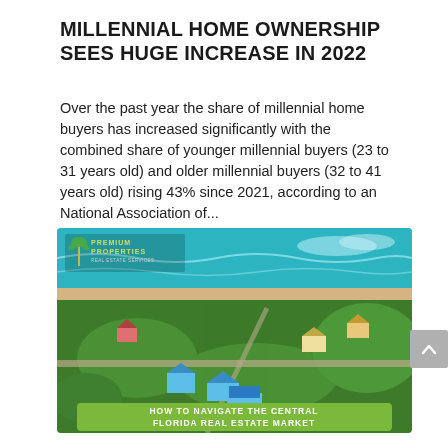MILLENNIAL HOME OWNERSHIP SEES HUGE INCREASE IN 2022
Over the past year the share of millennial home buyers has increased significantly with the combined share of younger millennial buyers (23 to 31 years old) and older millennial buyers (32 to 41 years old) rising 43% since 2021, according to an National Association of...
[Figure (photo): Aerial photograph of a coastal Florida neighborhood with houses, trees, roads, and beach/ocean visible. An olive-green banner at the bottom reads 'HOW TO NAVIGATE THE CENTRAL FLORIDA REAL ESTATE MARKET'. Premium Properties Real Estate Services logo visible in upper left.]